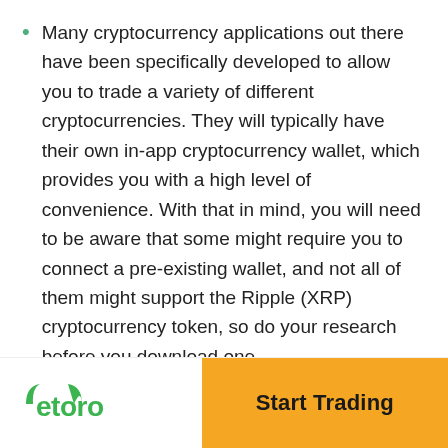Many cryptocurrency applications out there have been specifically developed to allow you to trade a variety of different cryptocurrencies. They will typically have their own in-app cryptocurrency wallet, which provides you with a high level of convenience. With that in mind, you will need to be aware that some might require you to connect a pre-existing wallet, and not all of them might support the Ripple (XRP) cryptocurrency token, so do your research before you download one.
Is It Safe to Invest in Ripple Right Now?
[Figure (other): Light blue info box with a blue circular icon on the left, partially visible at bottom of content area]
eToro | Start Trading